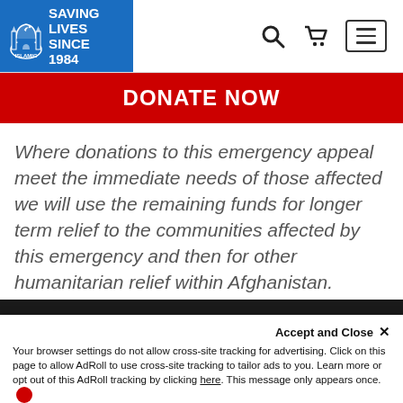SAVING LIVES SINCE 1984
DONATE NOW
Where donations to this emergency appeal meet the immediate needs of those affected we will use the remaining funds for longer term relief to the communities affected by this emergency and then for other humanitarian relief within Afghanistan.
Accept and Close ✕
Your browser settings do not allow cross-site tracking for advertising. Click on this page to allow AdRoll to use cross-site tracking to tailor ads to you. Learn more or opt out of this AdRoll tracking by clicking here. This message only appears once.